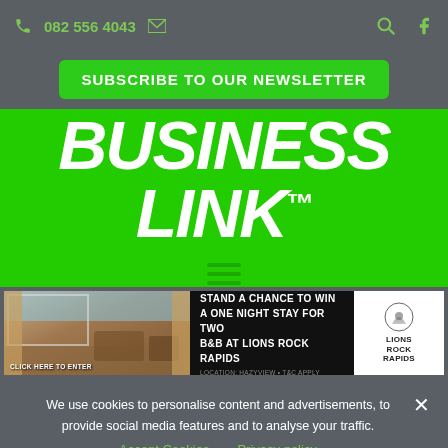082 556 4043
SUBSCRIBE TO OUR NEWSLETTER
BUSINESS LINK™
[Figure (screenshot): Advertisement banner: photo of a luxury lodge room interior on the left, text 'STAND A CHANCE TO WIN A ONE NIGHT STAY FOR TWO B&B AT LIONS ROCK RAPIDS' in center, Lions Rock Rapids logo on the right]
We use cookies to personalise content and advertisements, to provide social media features and to analyse your traffic.
Accept Cookies    Privacy policy